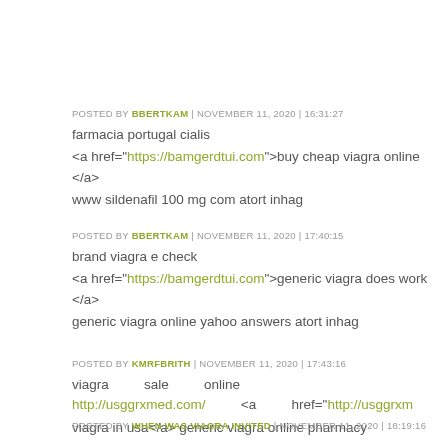POSTED BY BBERTKAM | NOVEMBER 11, 2020 | 16:31:27
farmacia portugal cialis
<a href="https://bamgerdtui.com">buy cheap viagra online </a>
www sildenafil 100 mg com atort inhag
POSTED BY BBERTKAM | NOVEMBER 11, 2020 | 17:40:15
brand viagra e check
<a href="https://bamgerdtui.com">generic viagra does work </a>
generic viagra online yahoo answers atort inhag
POSTED BY KMRFBRITH | NOVEMBER 11, 2020 | 17:43:16
viagra   sale   online   http://usggrxmed.com/   <a   href="http://usggrxm
viagra in usa</a> generic viagra online pharmacy
POSTED BY WHEN WAS VIAGRA INVITED | NOVEMBER 11, 2020 | 18:19:16